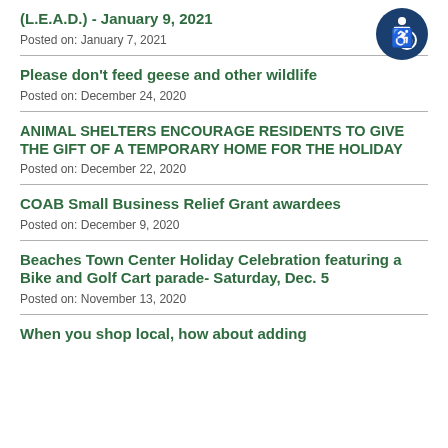(L.E.A.D.) - January 9, 2021
Posted on: January 7, 2021
Please don't feed geese and other wildlife
Posted on: December 24, 2020
ANIMAL SHELTERS ENCOURAGE RESIDENTS TO GIVE THE GIFT OF A TEMPORARY HOME FOR THE HOLIDAY
Posted on: December 22, 2020
COAB Small Business Relief Grant awardees
Posted on: December 9, 2020
Beaches Town Center Holiday Celebration featuring a Bike and Golf Cart parade- Saturday, Dec. 5
Posted on: November 13, 2020
When you shop local, how about adding